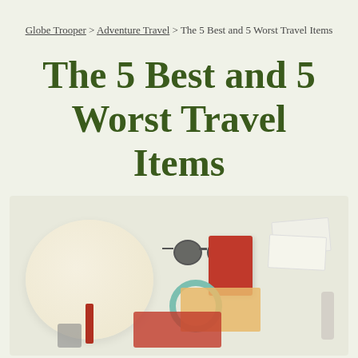Globe Trooper > Adventure Travel > The 5 Best and 5 Worst Travel Items
The 5 Best and 5 Worst Travel Items
[Figure (photo): Flat lay photo of travel items on a light background including a straw hat, sunglasses, passport, tickets, scrunchie, clothing, and toiletries]